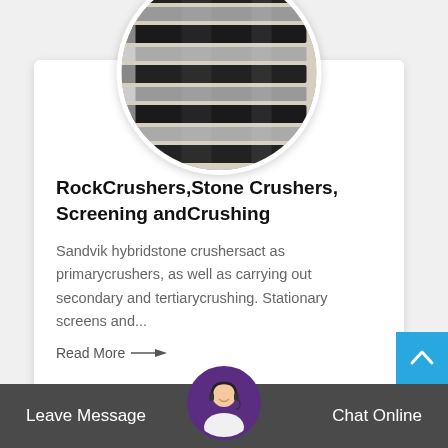[Figure (photo): Circular cropped photo of stacked metal channel bars/crusher screens, black and grey metallic industrial parts arranged in rows]
RockCrushers,Stone Crushers, Screening andCrushing
Sandvik hybridstone crushersact as primarycrushers, as well as carrying out secondary and tertiarycrushing. Stationary screens and...
Read More →
Leave Message   Chat Online